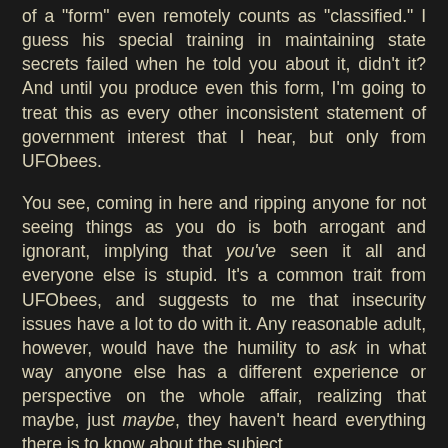of a "form" even remotely counts as "classified." I guess his special training in maintaining state secrets failed when he told you about it, didn't it? And until you produce even this form, I'm going to treat this as every other inconsistent statement of government interest that I hear, but only from UFObees.
You see, coming in here and ripping anyone for not seeing things as you do is both arrogant and ignorant, implying that you've seen it all and everyone else is stupid. It's a common trait from UFObees, and suggests to me that insecurity issues have a lot to do with it. Any reasonable adult, however, would have the humility to ask in what way anyone else has a different experience or perspective on the whole affair, realizing that maybe, just maybe, they haven't heard everything there is to know about the subject.
So when you're treated like an ass, it's because you're acting like an ass - and in fact, you've [continues below]